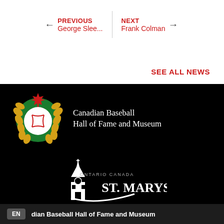← PREVIOUS George Slee... | NEXT Frank Colman →
SEE ALL NEWS
[Figure (logo): Canadian Baseball Hall of Fame and Museum logo with wreath, baseball, and maple leaf emblem on black background, with text 'Canadian Baseball Hall of Fame and Museum']
[Figure (logo): St. Marys Ontario Canada logo with clock tower building illustration on black background]
EN · dian Baseball Hall of Fame and Museum